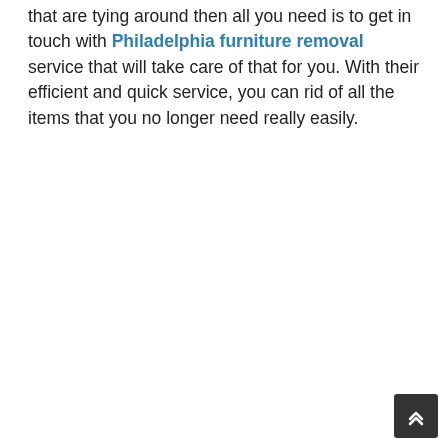that are tying around then all you need is to get in touch with Philadelphia furniture removal service that will take care of that for you. With their efficient and quick service, you can rid of all the items that you no longer need really easily.